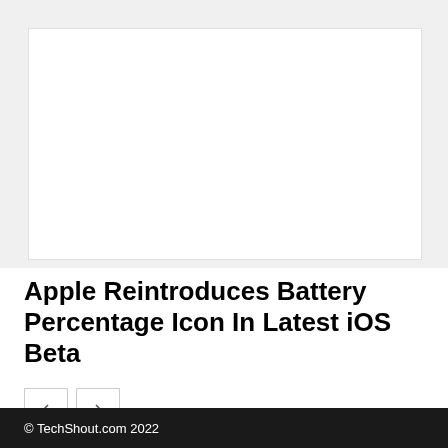[Figure (photo): Article hero image area showing a blurred/placeholder image with white inner content box on light gray background]
Apple Reintroduces Battery Percentage Icon In Latest iOS Beta
[Figure (other): Navigation previous and next arrow buttons]
© TechShout.com 2022